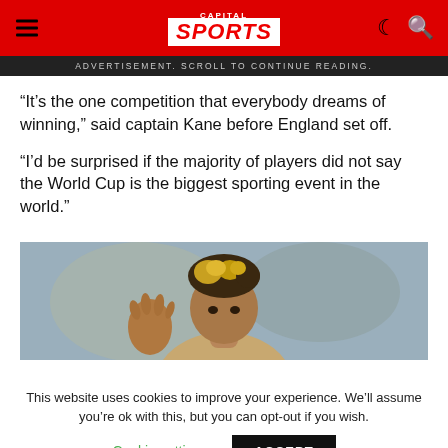CAPITAL SPORTS
ADVERTISEMENT. SCROLL TO CONTINUE READING.
“It’s the one competition that everybody dreams of winning,” said captain Kane before England set off.
“I’d be surprised if the majority of players did not say the World Cup is the biggest sporting event in the world.”
[Figure (photo): A footballer with curly blonde-highlighted hair gesturing with his hand, photographed outdoors.]
This website uses cookies to improve your experience. We’ll assume you’re ok with this, but you can opt-out if you wish. Cookie settings  ACCEPT